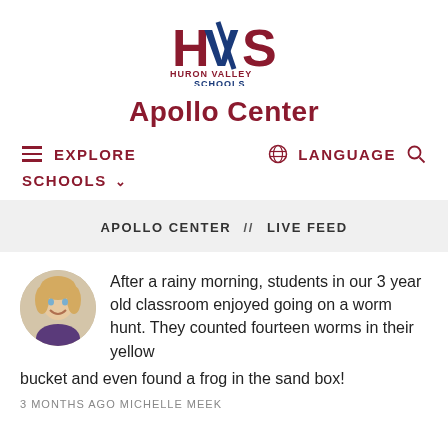[Figure (logo): Huron Valley Schools logo with HVS initials in red and blue, text reads HURON VALLEY SCHOOLS]
Apollo Center
EXPLORE   LANGUAGE   (search icon)   SCHOOLS
APOLLO CENTER  //  LIVE FEED
After a rainy morning, students in our 3 year old classroom enjoyed going on a worm hunt. They counted fourteen worms in their yellow bucket and even found a frog in the sand box!
3 MONTHS AGO  MICHELLE MEEK